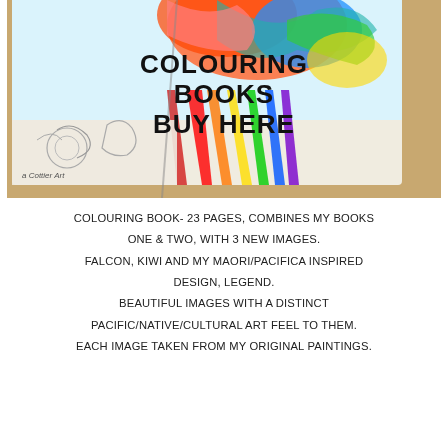[Figure (illustration): A photo of a colouring book open on a wooden surface, showing a colourful bird/phoenix design with rainbow feathers and swirling patterns. The top portion is fully coloured in vibrant reds, oranges, blues and greens, while the lower portion shows pencil outlines. Text overlay reads 'COLOURING BOOKS BUY HERE'. Small text in bottom-left reads 'a Cottier Art'.]
COLOURING BOOK- 23 PAGES, COMBINES MY BOOKS ONE & TWO, WITH 3 NEW IMAGES. FALCON, KIWI AND MY MAORI/PACIFICA INSPIRED DESIGN, LEGEND. BEAUTIFUL IMAGES WITH A DISTINCT PACIFIC/NATIVE/CULTURAL ART FEEL TO THEM. EACH IMAGE TAKEN FROM MY ORIGINAL PAINTINGS.